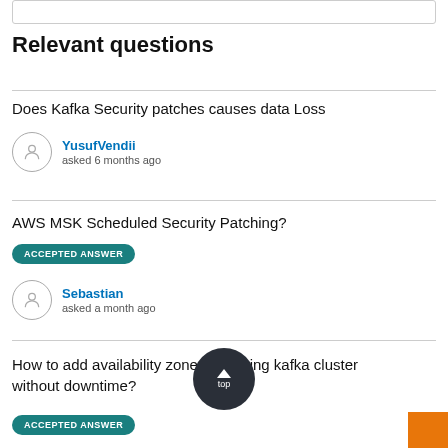Relevant questions
Does Kafka Security patches causes data Loss
YusufVendii
asked 6 months ago
AWS MSK Scheduled Security Patching?
ACCEPTED ANSWER
Sebastian
asked a month ago
How to add availability zone to existing kafka cluster without downtime?
ACCEPTED ANSWER